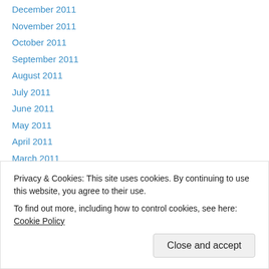December 2011
November 2011
October 2011
September 2011
August 2011
July 2011
June 2011
May 2011
April 2011
March 2011
February 2011
January 2011
December 2010
Privacy & Cookies: This site uses cookies. By continuing to use this website, you agree to their use.
To find out more, including how to control cookies, see here: Cookie Policy